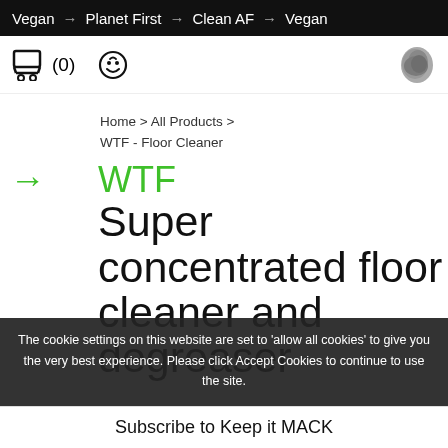Vegan → Planet First → Clean AF → Vegan
[Figure (screenshot): Navigation bar with shopping cart icon showing (0), a face/avatar icon, and a grey blob shape icon on the right]
Home > All Products > WTF - Floor Cleaner
WTF Super concentrated floor cleaner and degreaser
The cookie settings on this website are set to 'allow all cookies' to give you the very best experience. Please click Accept Cookies to continue to use the site.
Subscribe to Keep it MACK